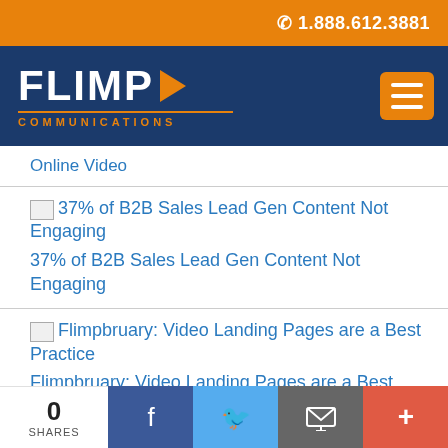1.888.612.3881
[Figure (logo): Flimp Communications logo with orange play button arrow and orange COMMUNICATIONS text]
Online Video
37% of B2B Sales Lead Gen Content Not Engaging
Flimpbruary: Video Landing Pages are a Best Practice
0 SHARES